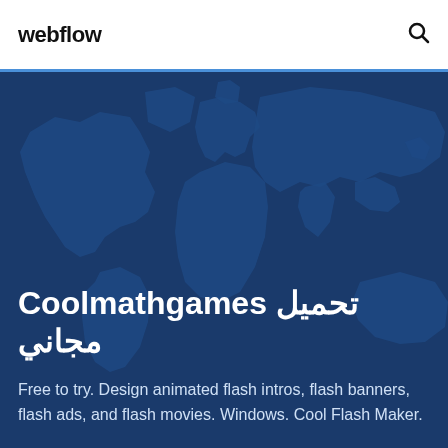webflow
[Figure (illustration): World map silhouette illustration in dark blue tones serving as hero background]
تحميل Coolmathgames مجاني
Free to try. Design animated flash intros, flash banners, flash ads, and flash movies. Windows. Cool Flash Maker.